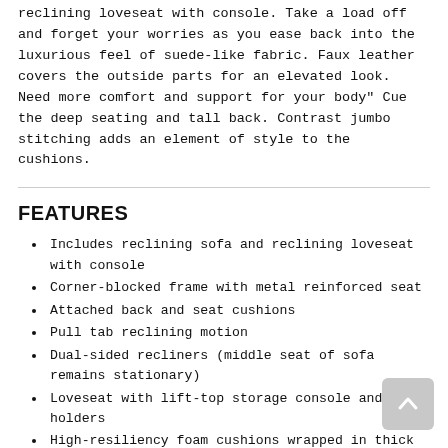reclining loveseat with console. Take a load off and forget your worries as you ease back into the luxurious feel of suede-like fabric. Faux leather covers the outside parts for an elevated look. Need more comfort and support for your body" Cue the deep seating and tall back. Contrast jumbo stitching adds an element of style to the cushions.
FEATURES
Includes reclining sofa and reclining loveseat with console
Corner-blocked frame with metal reinforced seat
Attached back and seat cushions
Pull tab reclining motion
Dual-sided recliners (middle seat of sofa remains stationary)
Loveseat with lift-top storage console and 2 cup holders
High-resiliency foam cushions wrapped in thick poly